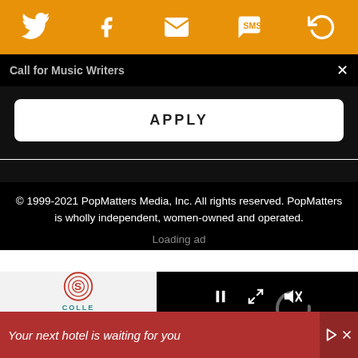[Figure (screenshot): Orange social share bar with Twitter, Facebook, Email, SMS, and refresh/share icons in white]
Call for Music Writers
APPLY
© 1999-2021 PopMatters Media, Inc. All rights reserved. PopMatters is wholly independent, women-owned and operated.
Loading ad
[Figure (screenshot): Video player panel loading with spinner icon and playback controls (pause, fullscreen, mute)]
[Figure (screenshot): Advertisement banner: Your next hotel is waiting for you, with hotel background image]